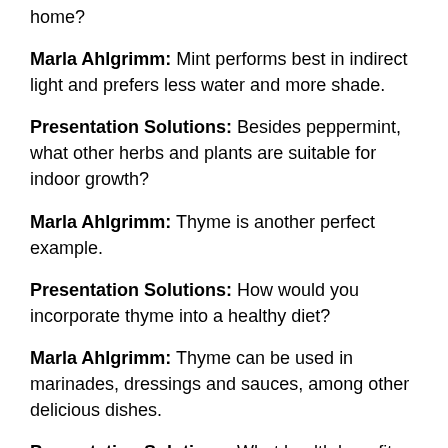home?
Marla Ahlgrimm: Mint performs best in indirect light and prefers less water and more shade.
Presentation Solutions: Besides peppermint, what other herbs and plants are suitable for indoor growth?
Marla Ahlgrimm: Thyme is another perfect example.
Presentation Solutions: How would you incorporate thyme into a healthy diet?
Marla Ahlgrimm: Thyme can be used in marinades, dressings and sauces, among other delicious dishes.
Presentation Solutions: What health benefits are associated with thyme?